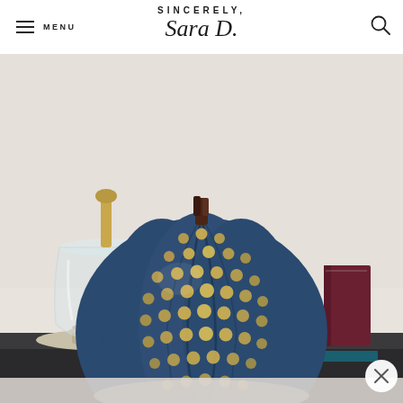SINCERELY, Sara D. — MENU | Search
[Figure (photo): A decorative blue pumpkin with gold polka dots sitting on a dark surface, with a glass bell jar cloche and gold base on the left and a dark book on the right. A partial view of a light-colored object appears at the bottom of the image. A close button (X) overlay is visible at the bottom right.]